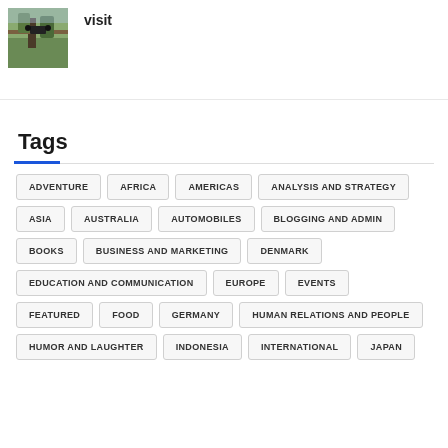[Figure (photo): Thumbnail image showing a bridge or walkway with trees/nature scene]
visit
Tags
ADVENTURE
AFRICA
AMERICAS
ANALYSIS AND STRATEGY
ASIA
AUSTRALIA
AUTOMOBILES
BLOGGING AND ADMIN
BOOKS
BUSINESS AND MARKETING
DENMARK
EDUCATION AND COMMUNICATION
EUROPE
EVENTS
FEATURED
FOOD
GERMANY
HUMAN RELATIONS AND PEOPLE
HUMOR AND LAUGHTER
INDONESIA
INTERNATIONAL
JAPAN